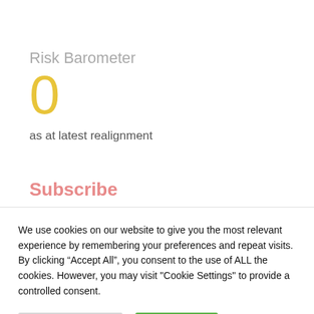Risk Barometer
0
as at latest realignment
Subscribe
We use cookies on our website to give you the most relevant experience by remembering your preferences and repeat visits. By clicking “Accept All”, you consent to the use of ALL the cookies. However, you may visit "Cookie Settings" to provide a controlled consent.